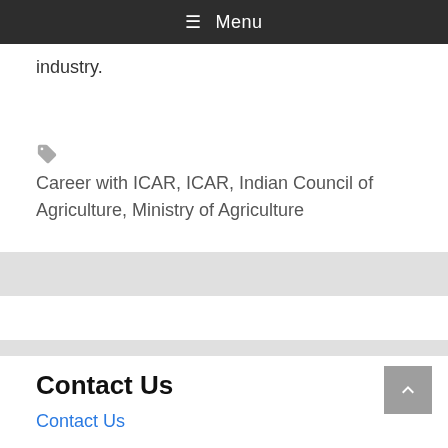≡ Menu
industry.
🏷 Career with ICAR, ICAR, Indian Council of Agriculture, Ministry of Agriculture
Contact Us
Contact Us